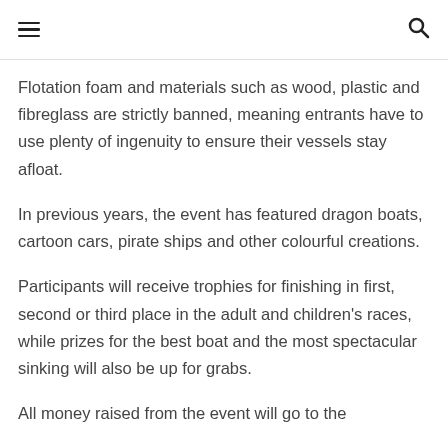☰  🔍
Flotation foam and materials such as wood, plastic and fibreglass are strictly banned, meaning entrants have to use plenty of ingenuity to ensure their vessels stay afloat.
In previous years, the event has featured dragon boats, cartoon cars, pirate ships and other colourful creations.
Participants will receive trophies for finishing in first, second or third place in the adult and children's races, while prizes for the best boat and the most spectacular sinking will also be up for grabs.
All money raised from the event will go to the